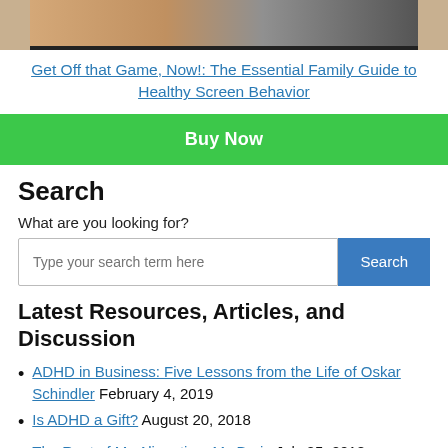[Figure (photo): Cropped photo showing a person holding a video game controller with orange accents, partially visible at top of page]
Get Off that Game, Now!: The Essential Family Guide to Healthy Screen Behavior
Buy Now
Search
What are you looking for?
Type your search term here
Latest Resources, Articles, and Discussion
ADHD in Business: Five Lessons from the Life of Oskar Schindler February 4, 2019
Is ADHD a Gift? August 20, 2018
The Root of My Alienation: My Brain July 25, 2018